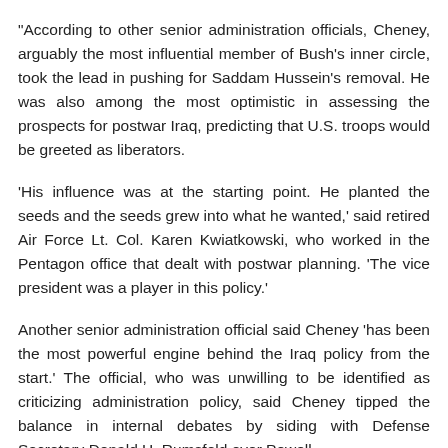"According to other senior administration officials, Cheney, arguably the most influential member of Bush's inner circle, took the lead in pushing for Saddam Hussein's removal. He was also among the most optimistic in assessing the prospects for postwar Iraq, predicting that U.S. troops would be greeted as liberators.
'His influence was at the starting point. He planted the seeds and the seeds grew into what he wanted,' said retired Air Force Lt. Col. Karen Kwiatkowski, who worked in the Pentagon office that dealt with postwar planning. 'The vice president was a player in this policy.'
Another senior administration official said Cheney 'has been the most powerful engine behind the Iraq policy from the start.' The official, who was unwilling to be identified as criticizing administration policy, said Cheney tipped the balance in internal debates by siding with Defense Secretary Donald H. Rumsfeld over Powell.
Rumsfeld shared Cheney's desire for military action and his